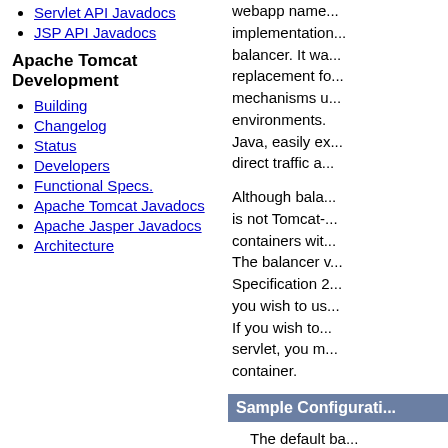Servlet API Javadocs
JSP API Javadocs
Apache Tomcat Development
Building
Changelog
Status
Developers
Functional Specs.
Apache Tomcat Javadocs
Apache Jasper Javadocs
Architecture
webapp name... implementation... balancer. It wa... replacement fo... mechanisms u... environments. Java, easily ex... direct traffic a...
Although bala... is not Tomcat-... containers wit... The balancer v... Specification 2... you wish to us... If you wish to... servlet, you m... container.
Sample Configurati...
The default ba... single filter, B... all requests (u... reads its rules... specified in the...